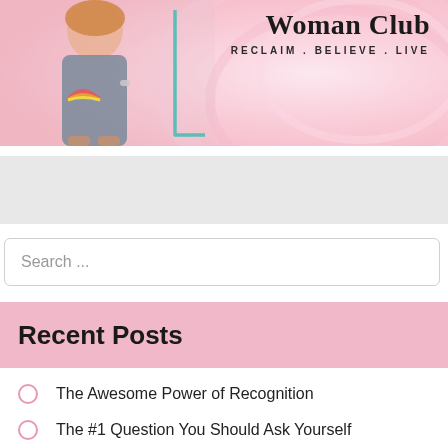[Figure (photo): Website banner for 'Woman Club' with tagline 'RECLAIM . BELIEVE . LIVE'. Shows a woman in a grey tank top with rainbow design on the left side, on a pink gradient background with swirling design elements.]
[Figure (other): Grey advertisement banner placeholder]
Search ...
Recent Posts
The Awesome Power of Recognition
The #1 Question You Should Ask Yourself